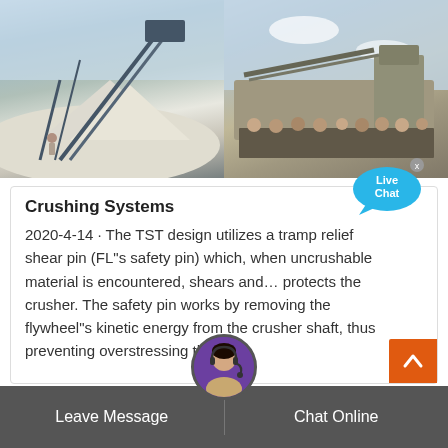[Figure (photo): Mining/crushing plant with conveyor belts and white mineral piles, worker in foreground]
[Figure (photo): Mining crushing plant with group of workers posing in front of machinery]
Crushing Systems
2020-4-14 · The TST design utilizes a tramp relief shear pin (FL"s safety pin) which, when uncrushable material is encountered, shears and… protects the crusher. The safety pin works by removing the flywheel"s kinetic energy from the crusher shaft, thus preventing overstressing the
[Figure (illustration): Live Chat bubble button]
[Figure (photo): Customer support avatar with headset]
Leave Message
Chat Online